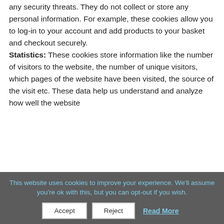any security threats. They do not collect or store any personal information. For example, these cookies allow you to log-in to your account and add products to your basket and checkout securely.
Statistics: These cookies store information like the number of visitors to the website, the number of unique visitors, which pages of the website have been visited, the source of the visit etc. These data help us understand and analyze how well the website
This website uses cookies to improve your experience. We'll assume you're ok with this, but you can opt-out if you wish.
Accept  Reject  Read More